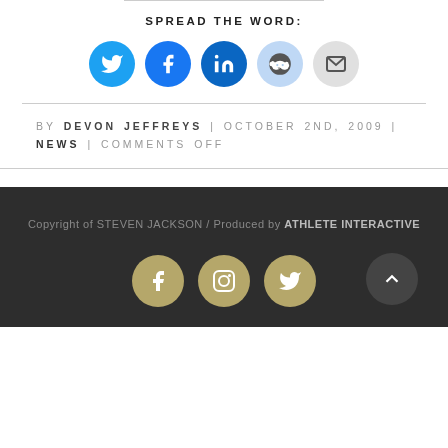SPREAD THE WORD:
[Figure (infographic): Row of five social sharing icon buttons: Twitter (blue), Facebook (darker blue), LinkedIn (dark blue), Reddit (light blue), Email (gray)]
BY DEVON JEFFREYS | OCTOBER 2ND, 2009 | NEWS | COMMENTS OFF
Copyright of STEVEN JACKSON / Produced by ATHLETE INTERACTIVE
[Figure (infographic): Row of three gold circular social media icons: Facebook, Instagram, Twitter. Plus a dark circular scroll-to-top button on the right.]